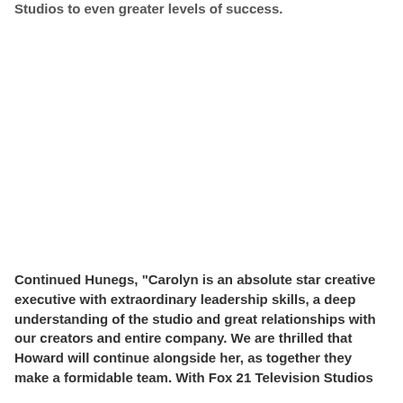Studios to even greater levels of success.
Continued Hunegs, “Carolyn is an absolute star creative executive with extraordinary leadership skills, a deep understanding of the studio and great relationships with our creators and entire company. We are thrilled that Howard will continue alongside her, as together they make a formidable team. With Fox 21 Television Studios